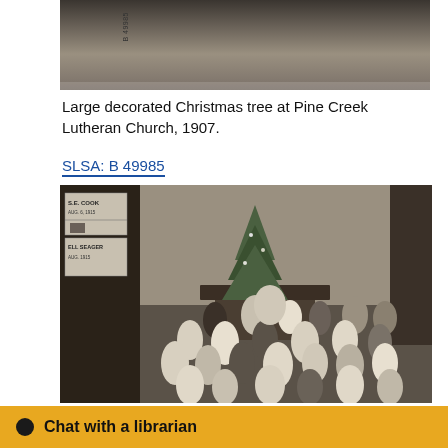[Figure (photo): Top portion of a black and white photograph of a large decorated Christmas tree at Pine Creek Lutheran Church, 1907, showing the upper part of the scene. Photo ID label B 49985 visible on left side.]
Large decorated Christmas tree at Pine Creek Lutheran Church, 1907.
SLSA: B 49985
[Figure (photo): Black and white group photograph of a large group of adults and children gathered around a decorated Christmas tree on a mantelpiece. A figure dressed as Santa Claus is visible in the center background. On the left wall are posters or notices including text referencing S.E. COOK and ELL SEAGER, AUG. 1915. The group is dressed in early 20th century clothing.]
Chat with a librarian